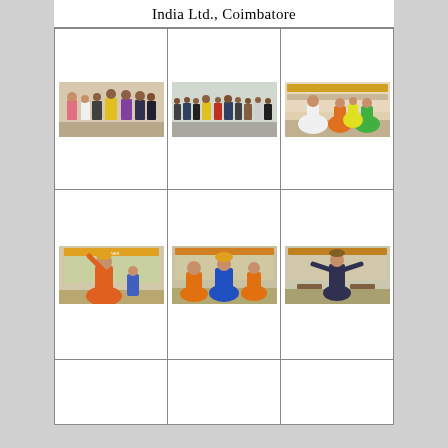India Ltd., Coimbatore
[Figure (photo): Group of people standing at an event, indoor hall, some in traditional attire]
[Figure (photo): Larger group of people standing in an indoor hall at an event]
[Figure (photo): Colorful classical dance performance on stage with decorated backdrop]
[Figure (photo): Dance performance with performer in colorful costume with backdrop banner]
[Figure (photo): Multiple performers in colorful costumes on stage with banner backdrop]
[Figure (photo): Performer in costume doing a dance pose in front of banner backdrop]